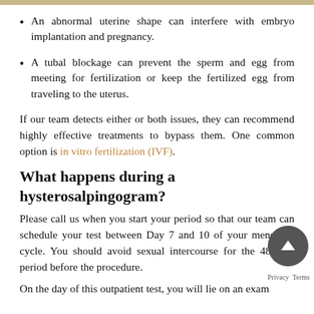An abnormal uterine shape can interfere with embryo implantation and pregnancy.
A tubal blockage can prevent the sperm and egg from meeting for fertilization or keep the fertilized egg from traveling to the uterus.
If our team detects either or both issues, they can recommend highly effective treatments to bypass them. One common option is in vitro fertilization (IVF).
What happens during a hysterosalpingogram?
Please call us when you start your period so that our team can schedule your test between Day 7 and 10 of your menstrual cycle. You should avoid sexual intercourse for the 48-hour period before the procedure.
On the day of this outpatient test, you will lie on an exam